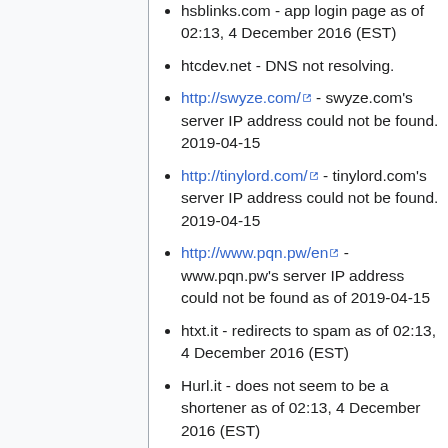hsblinks.com - app login page as of 02:13, 4 December 2016 (EST)
htcdev.net - DNS not resolving.
http://swyze.com/ - swyze.com's server IP address could not be found. 2019-04-15
http://tinylord.com/ - tinylord.com's server IP address could not be found. 2019-04-15
http://www.pqn.pw/en - www.pqn.pw's server IP address could not be found as of 2019-04-15
htxt.it - redirects to spam as of 02:13, 4 December 2016 (EST)
Hurl.it - does not seem to be a shortener as of 02:13, 4 December 2016 (EST)
hurl.me - doesn't resolve as of 02:13, 4 December 2016 (EST)